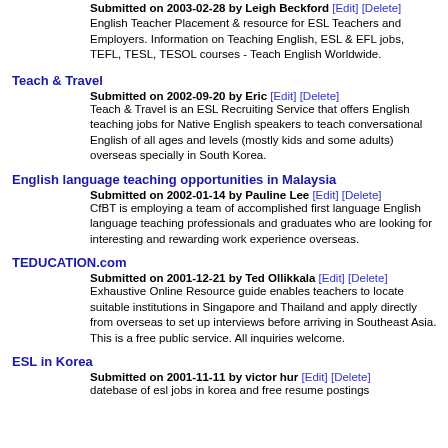Submitted on 2003-02-28 by Leigh Beckford [Edit] [Delete]
English Teacher Placement & resource for ESL Teachers and Employers. Information on Teaching English, ESL & EFL jobs, TEFL, TESL, TESOL courses - Teach English Worldwide.
Teach & Travel
Submitted on 2002-09-20 by Eric [Edit] [Delete]
Teach & Travel is an ESL Recruiting Service that offers English teaching jobs for Native English speakers to teach conversational English of all ages and levels (mostly kids and some adults) overseas specially in South Korea.
English language teaching opportunities in Malaysia
Submitted on 2002-01-14 by Pauline Lee [Edit] [Delete]
CfBT is employing a team of accomplished first language English language teaching professionals and graduates who are looking for interesting and rewarding work experience overseas.
TEDUCATION.com
Submitted on 2001-12-21 by Ted Ollikkala [Edit] [Delete]
Exhaustive Online Resource guide enables teachers to locate suitable institutions in Singapore and Thailand and apply directly from overseas to set up interviews before arriving in Southeast Asia. This is a free public service. All inquiries welcome.
ESL in Korea
Submitted on 2001-11-11 by victor hur [Edit] [Delete]
datebase of esl jobs in korea and free resume postings